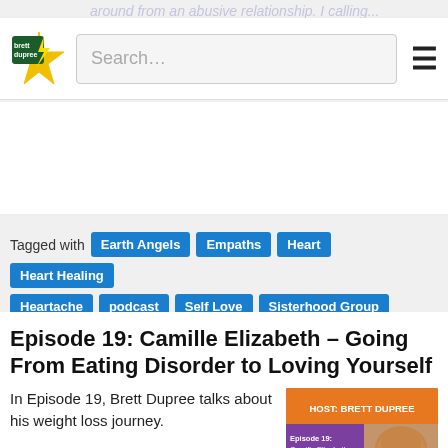Search…
READ MORE →
Tagged with Earth Angels Empaths Heart Heart Healing Heartache podcast Self Love Sisterhood Group
Episode 19: Camille Elizabeth – Going From Eating Disorder to Loving Yourself
In Episode 19, Brett Dupree talks about his weight loss journey.
[Figure (photo): Podcast cover image with orange/purple background reading HOST: BRETT DUPREE, Episode 19: Camille Elizabeth, Leader of Love – From Eating Disorder to, with photo of a woman with long brown hair]